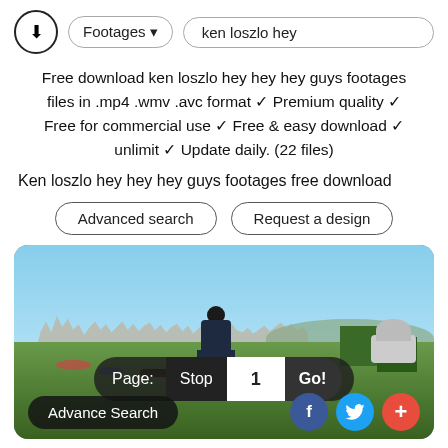[Figure (screenshot): Website UI header with download icon, Footages dropdown, and search box with text 'ken loszlo hey']
Free download ken loszlo hey hey hey guys footages files in .mp4 .wmv .avc format ✓ Premium quality ✓ Free for commercial use ✓ Free & easy download ✓ unlimit ✓ Update daily. (22 files)
Ken loszlo hey hey hey guys footages free download
[Figure (other): Two pill-shaped buttons: 'Advanced search' and 'Request a design']
[Figure (photo): Photo of a person sitting on a bench viewed from behind, looking out over a cityscape (appears to be San Francisco) with a park in the foreground and a dome building on the right. Overlaid pagination bar showing Page: Stop 1 Go! and bottom bar with Advance Search button and social media icons.]